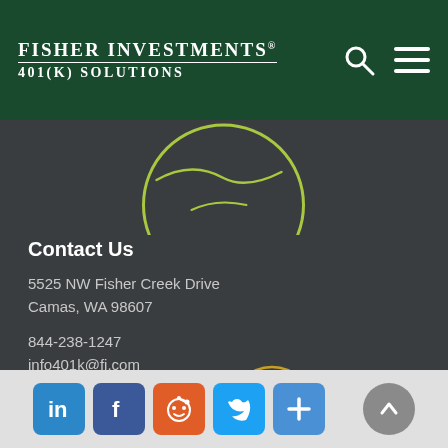Fisher Investments 401(k) Solutions
[Figure (illustration): Partial globe icon with green outline circle, showing a map line, on dark background]
Contact Us
5525 NW Fisher Creek Drive
Camas, WA 98607
844-238-1247
info401k@fi.com
[Figure (illustration): Yellow outlined device icons (monitor and smartphone) in a circle with connecting lines, on dark background]
Social share icons: LinkedIn, Facebook, Reddit, Twitter, Share, scroll-to-top